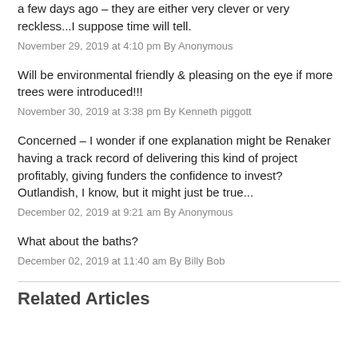a few days ago – they are either very clever or very reckless...I suppose time will tell.
November 29, 2019 at 4:10 pm By Anonymous
Will be environmental friendly & pleasing on the eye if more trees were introduced!!!
November 30, 2019 at 3:38 pm By Kenneth piggott
Concerned – I wonder if one explanation might be Renaker having a track record of delivering this kind of project profitably, giving funders the confidence to invest? Outlandish, I know, but it might just be true...
December 02, 2019 at 9:21 am By Anonymous
What about the baths?
December 02, 2019 at 11:40 am By Billy Bob
Related Articles